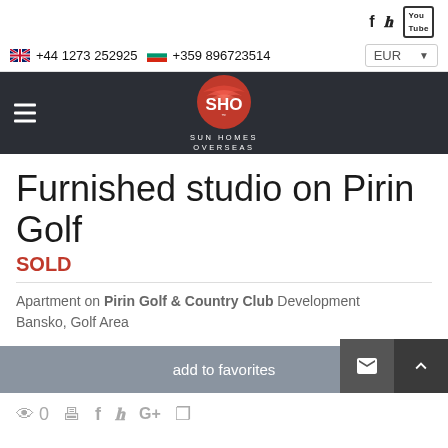Social icons and contact bar: +44 1273 252925 | +359 896723514 | EUR
[Figure (logo): SHO Sun Homes Overseas logo — red sphere with white SHO text and white SUN HOMES OVERSEAS subtitle, on dark navy navigation bar]
Furnished studio on Pirin Golf
SOLD
Apartment on Pirin Golf & Country Club Development Bansko, Golf Area
add to favorites